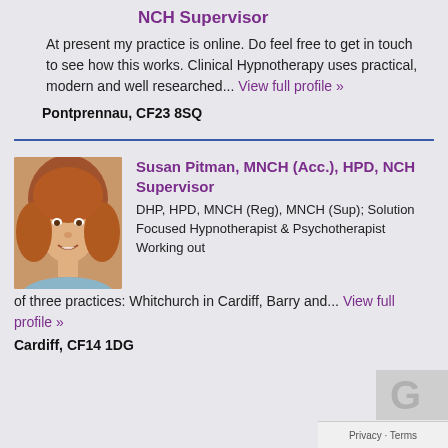NCH Supervisor
At present my practice is online. Do feel free to get in touch to see how this works. Clinical Hypnotherapy uses practical, modern and well researched... View full profile »
Pontprennau, CF23 8SQ
Susan Pitman, MNCH (Acc.), HPD, NCH Supervisor
DHP, HPD, MNCH (Reg), MNCH (Sup); Solution Focused Hypnotherapist & Psychotherapist Working out of three practices: Whitchurch in Cardiff, Barry and... View full profile »
Cardiff, CF14 1DG
[Figure (photo): Profile photo of Susan Pitman, a woman with reddish-brown hair, smiling]
[Figure (other): Google Maps watermark/logo partially visible in bottom right]